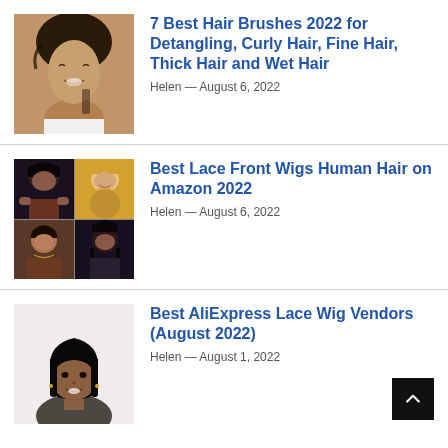[Figure (photo): Woman smiling with hair brush]
7 Best Hair Brushes 2022 for Detangling, Curly Hair, Fine Hair, Thick Hair and Wet Hair
Helen — August 6, 2022
[Figure (photo): Collage of women with lace front wigs]
Best Lace Front Wigs Human Hair on Amazon 2022
Helen — August 6, 2022
[Figure (photo): Woman with black bob wig]
Best AliExpress Lace Wig Vendors (August 2022)
Helen — August 1, 2022